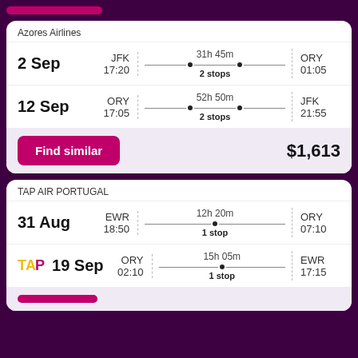Azores Airlines
2 Sep | JFK 17:20 | 31h 45m | 2 stops | ORY 01:05
12 Sep | ORY 17:05 | 52h 50m | 2 stops | JFK 21:55
Find similar | $1,613
TAP AIR PORTUGAL
31 Aug | EWR 18:50 | 12h 20m | 1 stop | ORY 07:10
19 Sep | ORY 02:10 | 15h 05m | 1 stop | EWR 17:15